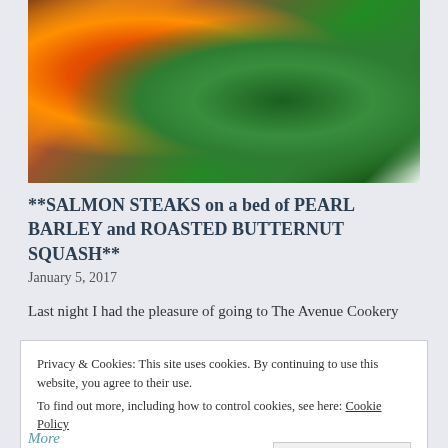[Figure (photo): Food photography showing salmon steak on a bed of pearl barley with roasted butternut squash and broccoli on a white plate]
**SALMON STEAKS on a bed of PEARL BARLEY and ROASTED BUTTERNUT SQUASH**
January 5, 2017
Last night I had the pleasure of going to The Avenue Cookery
Privacy & Cookies: This site uses cookies. By continuing to use this website, you agree to their use.
To find out more, including how to control cookies, see here: Cookie Policy
Close and accept
More